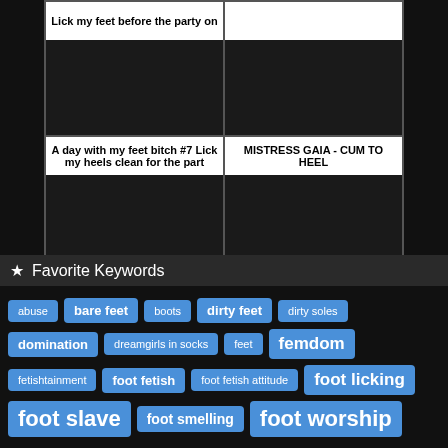[Figure (screenshot): Grid of 4 video thumbnails with titles. Top-left: truncated title 'Lick my feet before the party on'. Top-right: blank/dark thumbnail with no visible title. Bottom-left: 'A day with my feet bitch #7 Lick my heels clean for the part'. Bottom-right: 'MISTRESS GAIA - CUM TO HEEL']
★ Favorite Keywords
abuse
bare feet
boots
dirty feet
dirty soles
domination
dreamgirls in socks
feet
femdom
fetishtainment
foot fetish
foot fetish attitude
foot licking
foot slave
foot smelling
foot worship